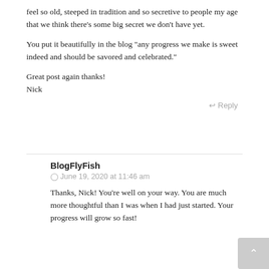feel so old, steeped in tradition and so secretive to people my age that we think there’s some big secret we don’t have yet.
You put it beautifully in the blog “any progress we make is sweet indeed and should be savored and celebrated.”
Great post again thanks!
Nick
↩ Reply
BlogFlyFish
June 19, 2020 at 11:46 am
Thanks, Nick! You’re well on your way. You are much more thoughtful than I was when I had just started. Your progress will grow so fast!